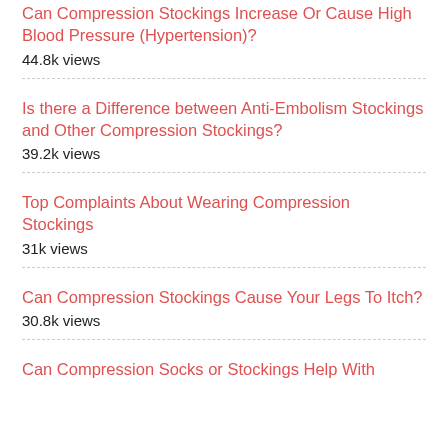Can Compression Stockings Increase Or Cause High Blood Pressure (Hypertension)?
44.8k views
Is there a Difference between Anti-Embolism Stockings and Other Compression Stockings?
39.2k views
Top Complaints About Wearing Compression Stockings
31k views
Can Compression Stockings Cause Your Legs To Itch?
30.8k views
Can Compression Socks or Stockings Help With